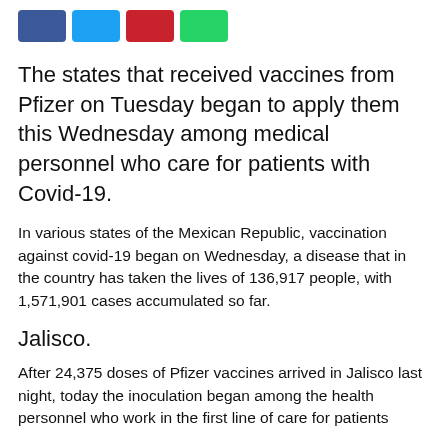[Figure (other): Four social media share buttons: Facebook (blue), Twitter (light blue), Pinterest (red), WhatsApp (green)]
The states that received vaccines from Pfizer on Tuesday began to apply them this Wednesday among medical personnel who care for patients with Covid-19.
In various states of the Mexican Republic, vaccination against covid-19 began on Wednesday, a disease that in the country has taken the lives of 136,917 people, with 1,571,901 cases accumulated so far.
Jalisco.
After 24,375 doses of Pfizer vaccines arrived in Jalisco last night, today the inoculation began among the health personnel who work in the first line of care for patients